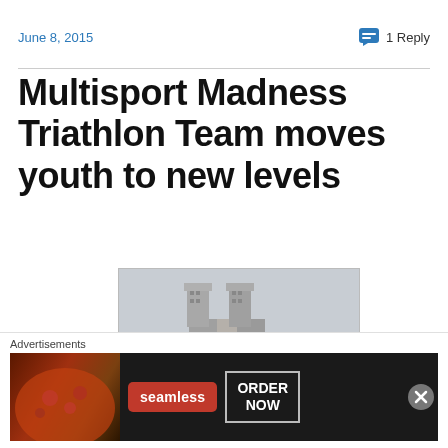June 8, 2015   💬 1 Reply
Multisport Madness Triathlon Team moves youth to new levels
[Figure (photo): Photograph of a tall modernist building or tower structure with an overcast sky background]
Advertisements
[Figure (other): Seamless food delivery advertisement with pizza image, Seamless logo, and ORDER NOW button]